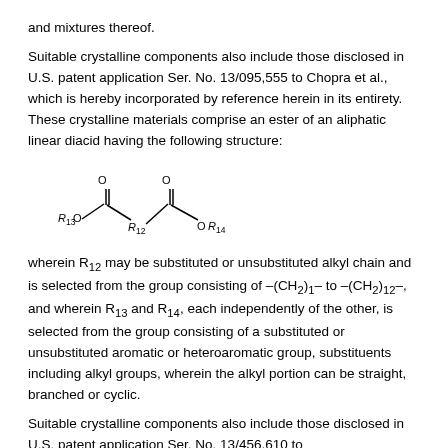and mixtures thereof.
Suitable crystalline components also include those disclosed in U.S. patent application Ser. No. 13/095,555 to Chopra et al., which is hereby incorporated by reference herein in its entirety. These crystalline materials comprise an ester of an aliphatic linear diacid having the following structure:
[Figure (chemical-structure): Chemical structure of a diester compound with R13O and OR14 ester groups on either end of an R12 carbon chain, with two carbonyl (C=O) groups shown.]
wherein R12 may be substituted or unsubstituted alkyl chain and is selected from the group consisting of –(CH2)1– to –(CH2)12–, and wherein R13 and R14, each independently of the other, is selected from the group consisting of a substituted or unsubstituted aromatic or heteroaromatic group, substituents including alkyl groups, wherein the alkyl portion can be straight, branched or cyclic.
Suitable crystalline components also include those disclosed in U.S. patent application Ser. No. 13/456,610 to